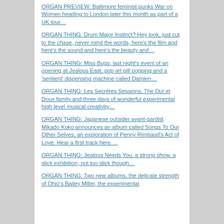ORGAN PREVIEW: Baltimore feminist punks War on Women heading to London later this month as part of a UK tour…
ORGAN THING: Drum Major Instinct? Hey look, just cut to the chase, never mind the words, here's the film and here's the sound and here's the beauty and…
ORGAN THING: Miss Bugs, last night's event of an opening at Jealous East, pop art pill popping and a 'sentient' dispensing machine called Damien…
ORGAN THING: Les Secrètes Sessions, The Dur et Doux family and three days of wonderful experimental high level musical creativity…
ORGAN THING: Japanese outsider avant-gardist Mikado Koko announces an album called Songs To Our Other Selves, an exploration of Penny Rimbaud's Act of Love. Hear a first track here….
ORGAN THING: Jealous Needs You, a strong show, a slick exhibition, not too slick though…
ORGAN THING: Two new albums, the delicate strength of Ohio's Bailey Miller, the experimental